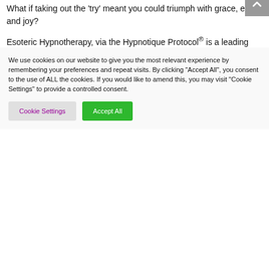What if taking out the 'try' meant you could triumph with grace, ease and joy?
Esoteric Hypnotherapy, via the Hypnotique Protocol® is a leading edge and integrated soul retrieval and soul restoration system that enables old soul stories to be rewritten in your akashic records. Creating the life you have been yearning for and dreaming about.
To take the first step to an enriched life full of joy, ease, purpose and power book your free 20min Connection Call here.
We use cookies on our website to give you the most relevant experience by remembering your preferences and repeat visits. By clicking "Accept All", you consent to the use of ALL the cookies. If you would like to amend this, you may visit "Cookie Settings" to provide a controlled consent.